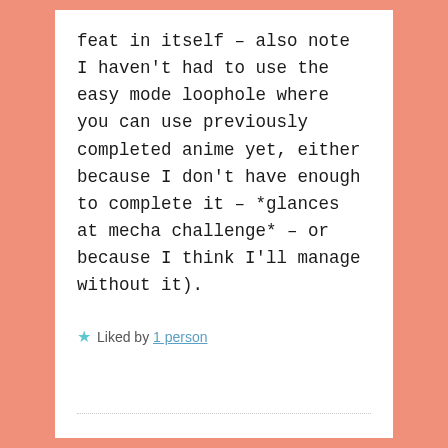feat in itself – also note I haven't had to use the easy mode loophole where you can use previously completed anime yet, either because I don't have enough to complete it – *glances at mecha challenge* – or because I think I'll manage without it).
★ Liked by 1 person